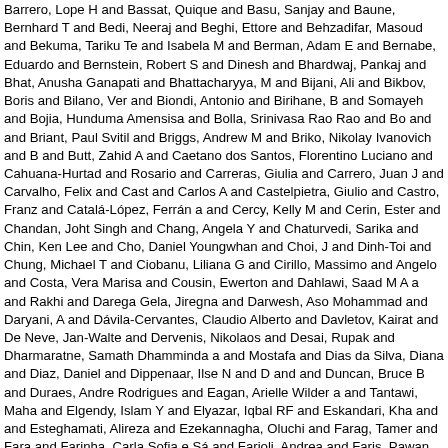Barrero, Lope H and Bassat, Quique and Basu, Sanjay and Baune, Bernhard T and Bedi, Neeraj and Beghi, Ettore and Behzadifar, Masoud and Bekuma, Tariku Te and Isabela M and Berman, Adam E and Bernabe, Eduardo and Bernstein, Robert S and Dinesh and Bhardwaj, Pankaj and Bhat, Anusha Ganapati and Bhattacharyya, M and Bijani, Ali and Bikbov, Boris and Bilano, Ver and Biondi, Antonio and Birihane, B and Somayeh and Bojia, Hunduma Amensisa and Bolla, Srinivasa Rao Rao and Bo and and Briant, Paul Svitil and Briggs, Andrew M and Briko, Nikolay Ivanovich and B and Butt, Zahid A and Caetano dos Santos, Florentino Luciano and Cahuana-Hurtado and Rosario and Carreras, Giulia and Carrero, Juan J and Carvalho, Felix and Cast and Carlos A and Castelpietra, Giulio and Castro, Franz and Catalá-López, Ferrán a and Cercy, Kelly M and Cerin, Ester and Chandan, Joht Singh and Chang, Angela Y and Chaturvedi, Sarika and Chin, Ken Lee and Cho, Daniel Youngwhan and Choi, J and Dinh-Toi and Chung, Michael T and Ciobanu, Liliana G and Cirillo, Massimo and Angelo and Costa, Vera Marisa and Cousin, Ewerton and Dahlawi, Saad M A a and Rakhi and Darega Gela, Jiregna and Darwesh, Aso Mohammad and Daryani, A and Dávila-Cervantes, Claudio Alberto and Davletov, Kairat and De Neve, Jan-Walter and Dervenis, Nikolaos and Desai, Rupak and Dharmaratne, Samath Dhamminda a and Mostafa and Dias da Silva, Diana and Diaz, Daniel and Dippenaar, Ilse N and D and and Duncan, Bruce B and Duraes, Andre Rodrigues and Eagan, Arielle Wilder a and Tantawi, Maha and Elgendy, Islam Y and Elyazar, Iqbal RF and Eskandari, Kha and and Esteghamati, Alireza and Ezekannagha, Oluchi and Farag, Tamer and Fara and Farinha, Carla Sofia e Sá and Farioli, Andrea and Faris, Pawan Sirwan and Far and Fernandes, Eduarda and Ferrara, Pietro and Feyissa, Garumma Tolu and Filip, and Luisa Sorio and Foigt, Nataliya A and Folayan, Morenike Oluwatoyin and Fome and Francis, Joel Msafiri and Fu, Weijia and Fukumoto, Takeshi and Furtado, João l and and Gakidou, Emmanuela and Galles, Natalie C and Gallus, Silvano and Gardr and Sahiledengle and Gebrehiwot, Abiyu Mekonnen and Gebremeskel, Leake G a and Gesesew, Hailay Abrha and Ghadiri, Keyghobad and Ghafourifard, Mansour a and Gholamian, Asadollah and Gilani, Syed Amir and Gill, Paramjit Singh and Gill, T and Mojgan and Giussani, Giorgia and Glagn, Mustefa and Gnedovskaya, Elena V a and and Gonalani, Sameer Vali and Goudarzian, Amir Hossein and Goulart, Pérbore